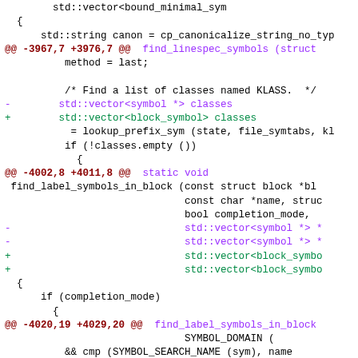[Figure (screenshot): A code diff screenshot showing changes to C++ source code, with removed lines in purple, added lines in green, and hunk headers in dark red/purple. The diff shows changes involving std::vector<symbol *> being replaced with std::vector<block_symbol>, and related function signature changes.]